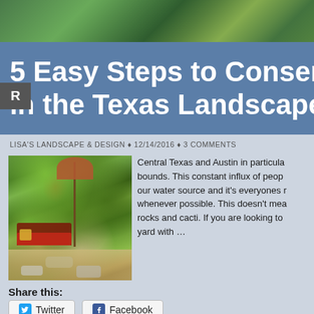[Figure (photo): Outdoor garden/landscape photo showing lush greenery as background strip at top of page]
5 Easy Steps to Conserve Water in the Texas Landscape
LISA'S LANDSCAPE & DESIGN ♦ 12/14/2016 ♦ 3 COMMENTS
[Figure (photo): Photo of a lush Texas garden landscape with a red bench/seat, patio umbrella, stone pathway, and abundant greenery including ferns and flowering plants]
Central Texas and Austin in particular are growing by leaps and bounds. This constant influx of people is putting a strain on our water source and it's everyones responsibility to conserve whenever possible. This doesn't mean you have to landscape with rocks and cacti. If you are looking to have a beautiful, lush yard with …
Share this:
Twitter
Facebook